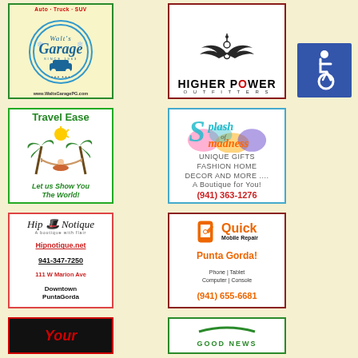[Figure (logo): Walt's Garage advertisement - Auto Truck SUV, www.WaltsGaragePG.com]
[Figure (logo): Higher Power Outfitters advertisement with wings logo]
[Figure (logo): Accessibility wheelchair symbol on blue background]
[Figure (logo): Travel Ease advertisement - Let us Show You The World!]
[Figure (logo): Splash of Madness - Unique Gifts Fashion Home Decor and More... A Boutique for You! (941) 363-1276]
[Figure (logo): Hip Notique - A boutique with flair - Hipnotique.net - 941-347-7250 - 111 W Marion Ave - Downtown PuntaGorda]
[Figure (logo): Quick Mobile Repair - Punta Gorda! - Phone Tablet Computer Console - (941) 655-6681]
[Figure (logo): Partial advertisement bottom left - Your (red text on black)]
[Figure (logo): Partial advertisement bottom right - Good News (green text)]